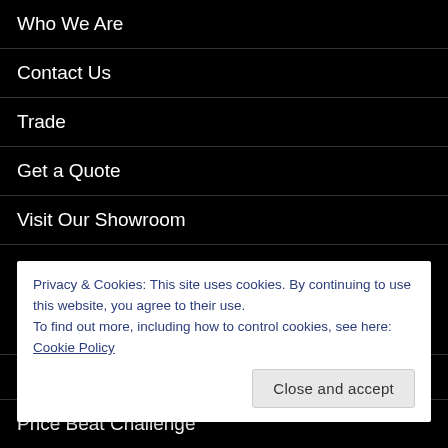Who We Are
Contact Us
Trade
Get a Quote
Visit Our Showroom
SHOP
My account
Wishlist
Privacy & Cookies: This site uses cookies. By continuing to use this website, you agree to their use.
To find out more, including how to control cookies, see here: Cookie Policy
Price Beat Challenge